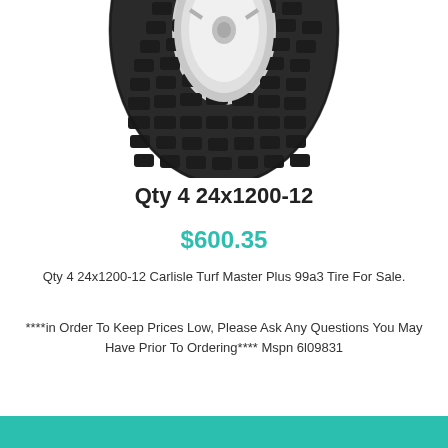[Figure (photo): A close-up photo of a black rubber tire (Carlisle Turf Master Plus) showing the tread pattern, viewed from a slight angle. The tire has a distinctive block tread pattern. Only the upper portion of the tire is visible against a white background.]
Qty 4 24x1200-12
$600.35
Qty 4 24x1200-12 Carlisle Turf Master Plus 99a3 Tire For Sale.
****in Order To Keep Prices Low, Please Ask Any Questions You May Have Prior To Ordering**** Mspn 6l09831